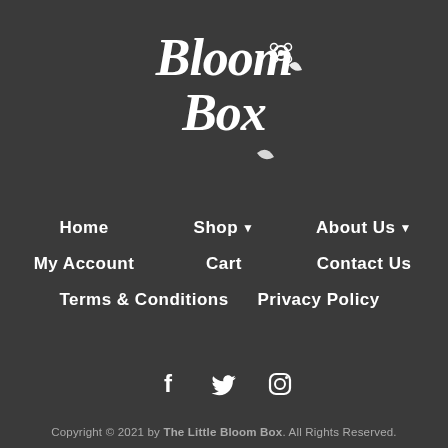[Figure (logo): Bloom Box script logo in white on dark background with floral decorations]
Home
Shop ▾
About Us ▾
My Account
Cart
Contact Us
Terms & Conditions
Privacy Policy
[Figure (illustration): Social media icons: Facebook, Twitter, Instagram]
Copyright © 2021 by The Little Bloom Box. All Rights Reserved.